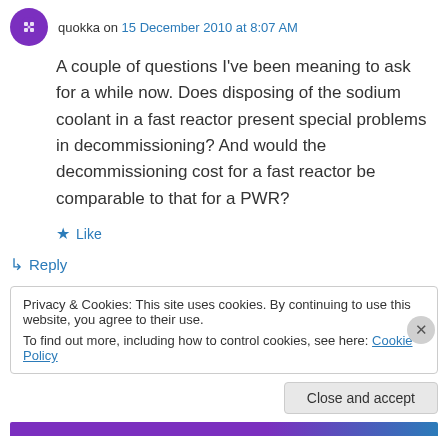quokka on 15 December 2010 at 8:07 AM
A couple of questions I've been meaning to ask for a while now. Does disposing of the sodium coolant in a fast reactor present special problems in decommissioning? And would the decommissioning cost for a fast reactor be comparable to that for a PWR?
★ Like
↳ Reply
Privacy & Cookies: This site uses cookies. By continuing to use this website, you agree to their use.
To find out more, including how to control cookies, see here: Cookie Policy
Close and accept